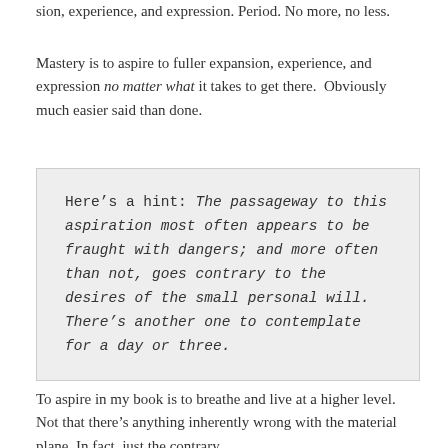sion, experience, and expression. Period. No more, no less.
Mastery is to aspire to fuller expansion, experience, and expression no matter what it takes to get there.  Obviously much easier said than done.
Here’s a hint: The passageway to this aspiration most often appears to be fraught with dangers; and more often than not, goes contrary to the desires of the small personal will. There’s another one to contemplate for a day or three.
To aspire in my book is to breathe and live at a higher level. Not that there’s anything inherently wrong with the material plane. In fact, just the contrary.